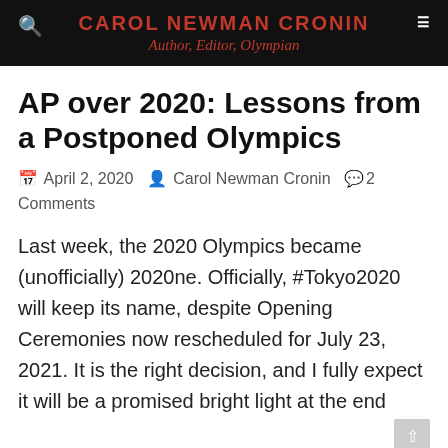CAROL NEWMAN CRONIN
Author, Editor, Olympian
AP over 2020: Lessons from a Postponed Olympics
April 2, 2020  Carol Newman Cronin  2 Comments
Last week, the 2020 Olympics became (unofficially) 2020ne. Officially, #Tokyo2020 will keep its name, despite Opening Ceremonies now rescheduled for July 23, 2021. It is the right decision, and I fully expect it will be a promised bright light at the end